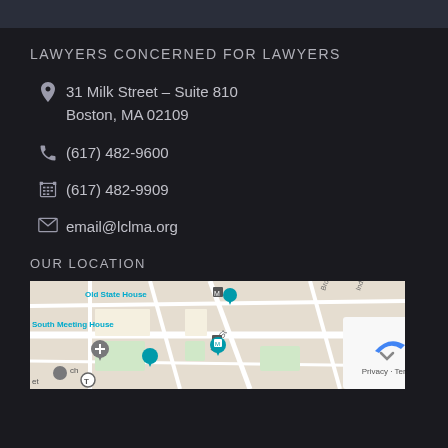LAWYERS CONCERNED FOR LAWYERS
31 Milk Street – Suite 810
Boston, MA 02109
(617) 482-9600
(617) 482-9909
email@lclma.org
OUR LOCATION
[Figure (map): Google Maps view showing area around 31 Milk Street, Boston, MA with Old State House, South Meeting House, and surrounding streets including Milk St, Broad St, India St, State St, and Oliver St labeled. Blue and grey location markers visible.]